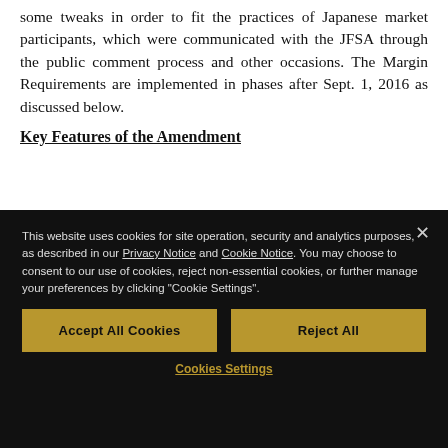some tweaks in order to fit the practices of Japanese market participants, which were communicated with the JFSA through the public comment process and other occasions. The Margin Requirements are implemented in phases after Sept. 1, 2016 as discussed below.
Key Features of the Amendment
[Figure (screenshot): Cookie consent overlay on dark background with close button (×), explanatory text about cookies referencing Privacy Notice and Cookie Notice links, two buttons: 'Accept All Cookies' and 'Reject All' in gold/dark-yellow color, and a 'Cookies Settings' link at the bottom. Partially visible list content appears to the right of the overlay.]